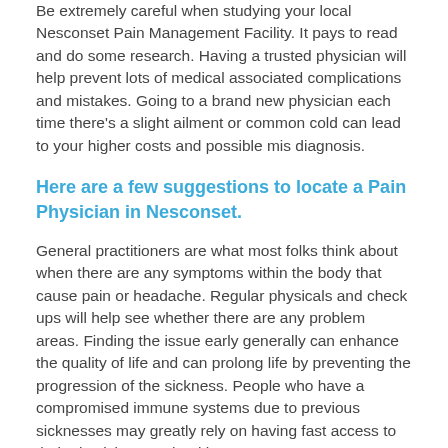Be extremely careful when studying your local Nesconset Pain Management Facility. It pays to read and do some research. Having a trusted physician will help prevent lots of medical associated complications and mistakes. Going to a brand new physician each time there's a slight ailment or common cold can lead to your higher costs and possible mis diagnosis.
Here are a few suggestions to locate a Pain Physician in Nesconset.
General practitioners are what most folks think about when there are any symptoms within the body that cause pain or headache. Regular physicals and check ups will help see whether there are any problem areas. Finding the issue early generally can enhance the quality of life and can prolong life by preventing the progression of the sickness. People who have a compromised immune systems due to previous sicknesses may greatly rely on having fast access to their physician stay healthy.